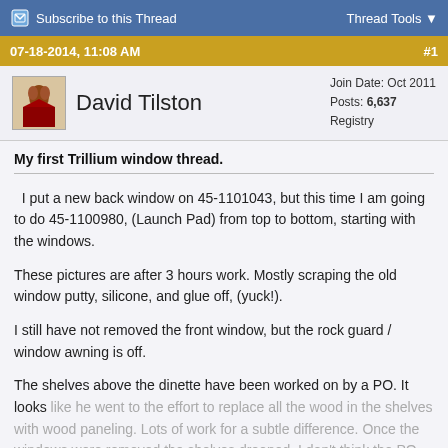Subscribe to this Thread   Thread Tools
07-18-2014, 11:08 AM   #1
David Tilston   Join Date: Oct 2011  Posts: 6,637  Registry
My first Trillium window thread.
I put a new back window on 45-1101043, but this time I am going to do 45-1100980, (Launch Pad) from top to bottom, starting with the windows.
These pictures are after 3 hours work. Mostly scraping the old window putty, silicone, and glue off, (yuck!).
I still have not removed the front window, but the rock guard / window awning is off.
The shelves above the dinette have been worked on by a PO. It looks like he went to the effort to replace all the wood in the shelves with wood paneling. Lots of work for a subtle difference. Once the windows were removed the shelves drooped. I don't think the PO put